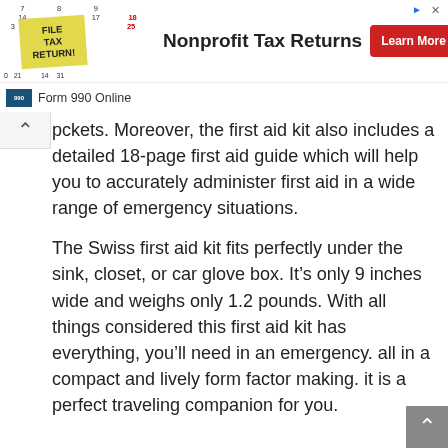[Figure (screenshot): Advertisement banner for Nonprofit Tax Returns featuring a sticky note on a calendar image, bold title 'Nonprofit Tax Returns', a red 'Learn More' button, and Form 990 Online branding below.]
pockets. Moreover, the first aid kit also includes a detailed 18-page first aid guide which will help you to accurately administer first aid in a wide range of emergency situations.
The Swiss first aid kit fits perfectly under the sink, closet, or car glove box. It's only 9 inches wide and weighs only 1.2 pounds. With all things considered this first aid kit has everything, you'll need in an emergency. all in a compact and lively form factor making. it is a perfect traveling companion for you.